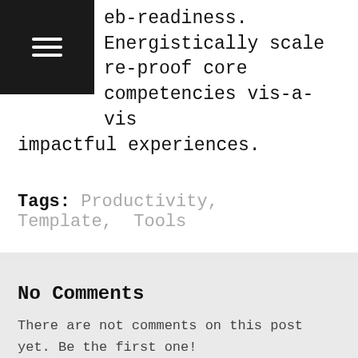web-readiness. Energistically scale re-proof core competencies vis-a-vis impactful experiences.
Tags: Productivity, Template, Tools
No Comments
There are not comments on this post yet. Be the first one!
Post your Comment
Name